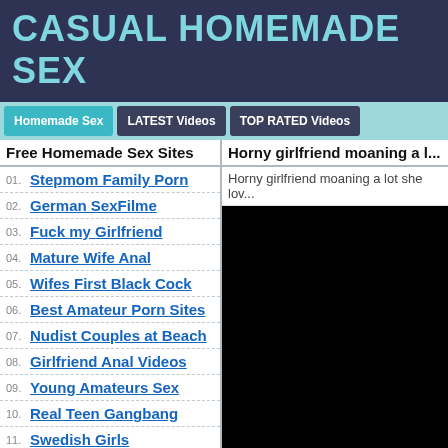CASUAL HOMEMADE SEX
Homemade Sex | LATEST Videos | TOP RATED Videos
Free Homemade Sex Sites
Horny girlfriend moaning a l...
01. Stepmom Family Porn
02. German SexFilme
03. Fuck my Girlfriend
04. Mature Wife Anal
05. Wifes First Black Cock
06. Best Amateur Porn Sites
07. Nudist Couples at Beach
08. Girlfriend Anal Videos
09. Young Amateurs Sex
10. Real Teen Gangbang
11. Swedish Girls
12. Spanish Amateur Swinger
13. Nude Dutch Women
Horny girlfriend moaning a lot she lov...
[Figure (photo): Black video player area]